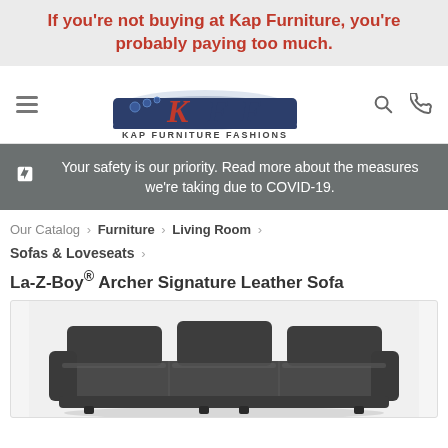If you're not buying at Kap Furniture, you're probably paying too much.
[Figure (logo): KFF Kap Furniture Fashions logo with stylized K, F, F letters and baseball-like graphic]
🔔 Your safety is our priority. Read more about the measures we're taking due to COVID-19.
Our Catalog › Furniture › Living Room › Sofas & Loveseats ›
La-Z-Boy® Archer Signature Leather Sofa
[Figure (photo): Dark gray/charcoal leather sofa - La-Z-Boy Archer Signature Leather Sofa]